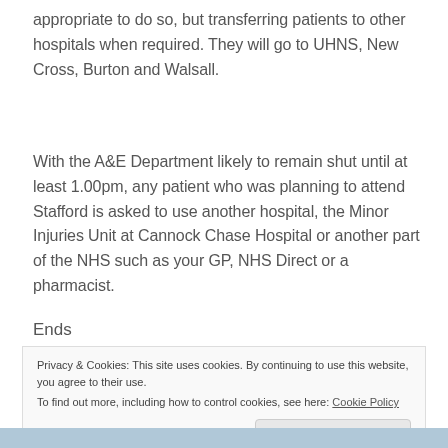appropriate to do so, but transferring patients to other hospitals when required. They will go to UHNS, New Cross, Burton and Walsall.
With the A&E Department likely to remain shut until at least 1.00pm, any patient who was planning to attend Stafford is asked to use another hospital, the Minor Injuries Unit at Cannock Chase Hospital or another part of the NHS such as your GP, NHS Direct or a pharmacist.
Ends
Privacy & Cookies: This site uses cookies. By continuing to use this website, you agree to their use.
To find out more, including how to control cookies, see here: Cookie Policy
Close and accept